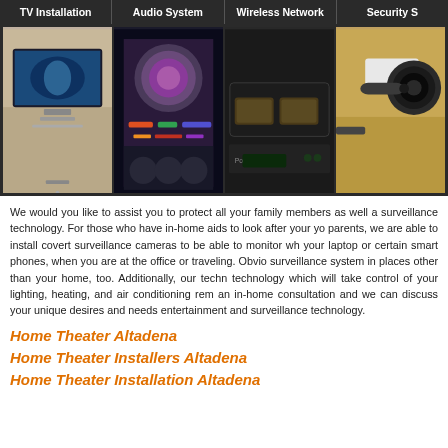TV Installation | Audio System | Wireless Network | Security S
[Figure (photo): Four-panel photo strip showing: TV mounted on wall with shark screen, audio system with colorful cables/machinery, wireless network router with ethernet ports, security camera on wooden surface]
We would you like to assist you to protect all your family members as well a surveillance technology. For those who have in-home aids to look after your yo parents, we are able to install covert surveillance cameras to be able to monitor wh your laptop or certain smart phones, when you are at the office or traveling. Obvio surveillance system in places other than your home, too. Additionally, our techn technology which will take control of your lighting, heating, and air conditioning rem an in-home consultation and we can discuss your unique desires and needs entertainment and surveillance technology.
Home Theater Altadena
Home Theater Installers Altadena
Home Theater Installation Altadena